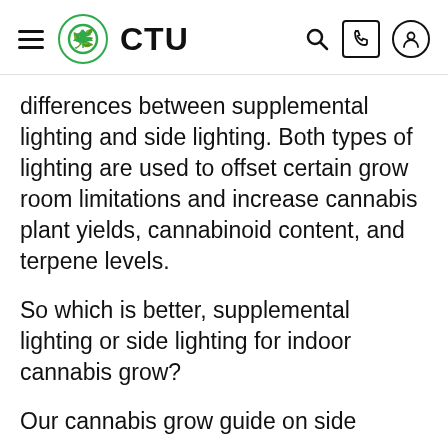CTU
differences between supplemental lighting and side lighting. Both types of lighting are used to offset certain grow room limitations and increase cannabis plant yields, cannabinoid content, and terpene levels.
So which is better, supplemental lighting or side lighting for indoor cannabis grow?
Our cannabis grow guide on side